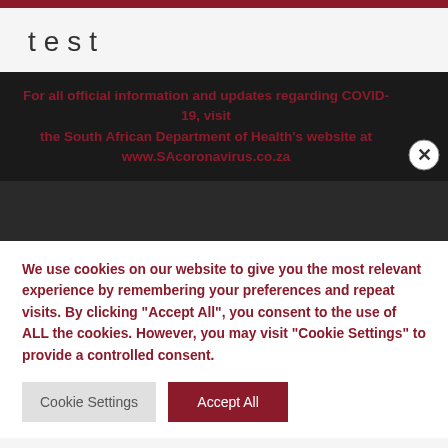test
For all official information and updates regarding COVID-19, visit the South African Department of Health's website at www.SAcoronavirus.co.za
We use cookies on our website to give you the most relevant experience by remembering your preferences and repeat visits. By clicking "Accept All", you consent to the use of ALL the cookies. However, you may visit "Cookie Settings" to provide a controlled consent.
Cookie Settings | Accept All